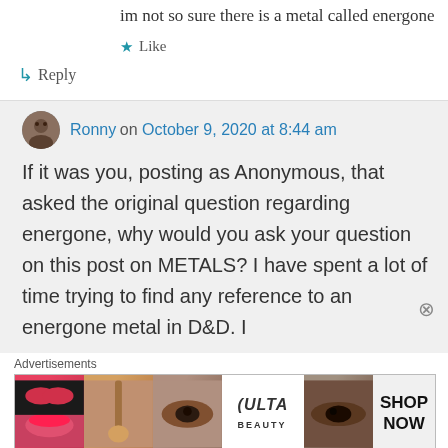im not so sure there is a metal called energone
★ Like
↳ Reply
Ronny on October 9, 2020 at 8:44 am
If it was you, posting as Anonymous, that asked the original question regarding energone, why would you ask your question on this post on METALS? I have spent a lot of time trying to find any reference to an energone metal in D&D. I
Advertisements
[Figure (photo): Advertisement banner for ULTA beauty products showing makeup imagery with 'SHOP NOW' text]